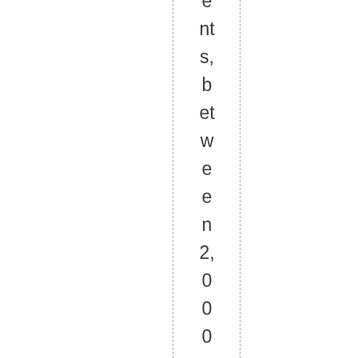e nt s, b et w e e n 2, 0 0 0 – 3, 0 0 0